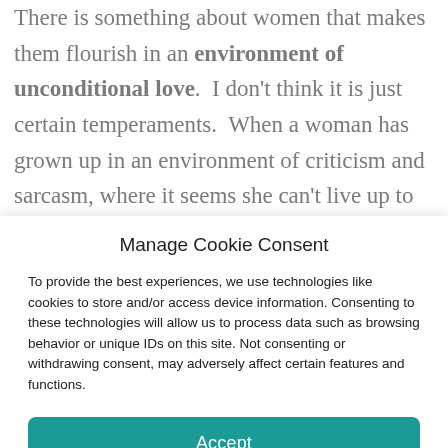There is something about women that makes them flourish in an environment of unconditional love. I don't think it is just certain temperaments. When a woman has grown up in an environment of criticism and sarcasm, where it seems she can't live up to the expectations of at least one parent that she
Manage Cookie Consent
To provide the best experiences, we use technologies like cookies to store and/or access device information. Consenting to these technologies will allow us to process data such as browsing behavior or unique IDs on this site. Not consenting or withdrawing consent, may adversely affect certain features and functions.
Accept